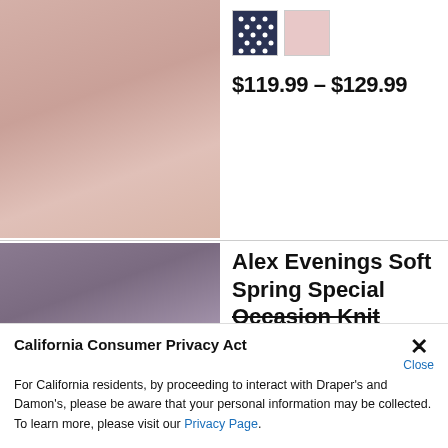[Figure (photo): Woman wearing a pink layered dress with a cardigan/jacket, standing in a decorated room with tropical plants]
$119.99 - $129.99
[Figure (photo): Woman wearing a lavender/grey knit jacket, smiling, with tropical plant and decorative background]
Alex Evenings Soft Spring Special Occasion Knit
California Consumer Privacy Act
For California residents, by proceeding to interact with Draper's and Damon's, please be aware that your personal information may be collected. To learn more, please visit our Privacy Page.